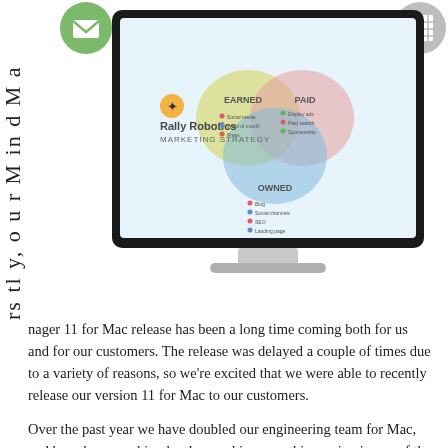rs tl y, o u r M in d M a
[Figure (illustration): Green circle icon with envelope/mail symbol]
[Figure (illustration): Gray circle icon with grid/calendar symbol]
[Figure (illustration): Computer monitor displaying Rally Robotics Marketing Strategy Venn diagram with EARNED, PAID, and OWNED circles]
nager 11 for Mac release has been a long time coming both for us and for our customers. The release was delayed a couple of times due to a variety of reasons, so we're excited that we were able to recently release our version 11 for Mac to our customers.
Over the past year we have doubled our engineering team for Mac, and have been working hard on making sure this version is one of the best we've released. We're so excited, in fact, that we've already started working on the next version f...